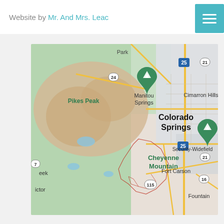Website by Mr. And Mrs. Lead
[Figure (map): Google Map showing Colorado Springs area including Pikes Peak, Manitou Springs, Cheyenne Mountain, Cimarron Hills, Security-Widefield, Fort Carson, and Fountain. Major highways including I-25, Route 24, Route 21, Route 115, and Route 16 are visible. Green map pin markers are placed at Pikes Peak and Cheyenne Mountain.]